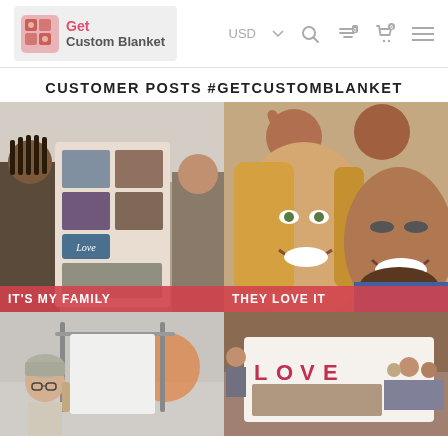Get Custom Blanket — USD navigation header
CUSTOMER POSTS #GETCUSTOMBLANKET
[Figure (photo): Customer holding a custom photo collage blanket with 'Love' text and family photos. Caption: IT'S MY FAMILY]
[Figure (photo): Family selfie with children on shoulders printed on blanket. Caption: THEY LOVE IT]
[Figure (photo): Customer with white custom blanket in a studio/gym setting]
[Figure (photo): Group holding a white custom blanket with LOVE text and family photo]